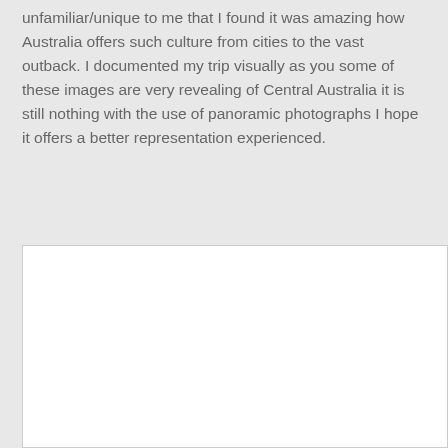unfamiliar/unique to me that I found it was amazing how Australia offers such culture from cities to the vast outback. I documented my trip visually as you some of these images are very revealing of Central Australia it is still nothing with the use of panoramic photographs I hope it offers a better representation experienced.
[Figure (photo): A large white rectangular image placeholder area with a light grey border, representing a photograph from Central Australia.]